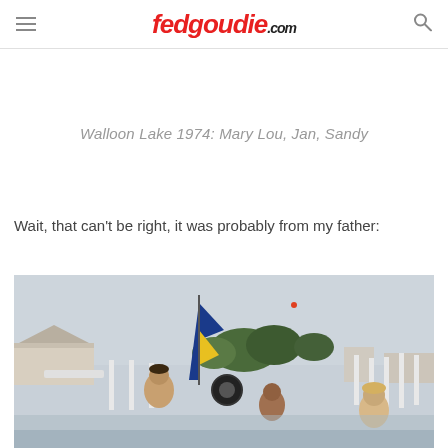fedgoudie.com
Walloon Lake 1974: Mary Lou, Jan, Sandy
Wait, that can't be right, it was probably from my father:
[Figure (photo): Outdoor lakeside scene from 1974 showing people at a waterfront area with sailboat, trees, and buildings in the background]